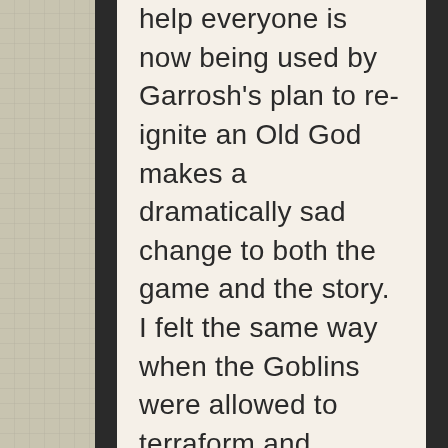help everyone is now being used by Garrosh's plan to re-ignite an Old God makes a dramatically sad change to both the game and the story. I felt the same way when the Goblins were allowed to terraform and essentially destroy Azshara. There's something about purposeful destruction of the most beautiful landscapes in WoW that really make me feel awful. Vale is where I spent a lot of time just hovering in the air, watching the sun go down